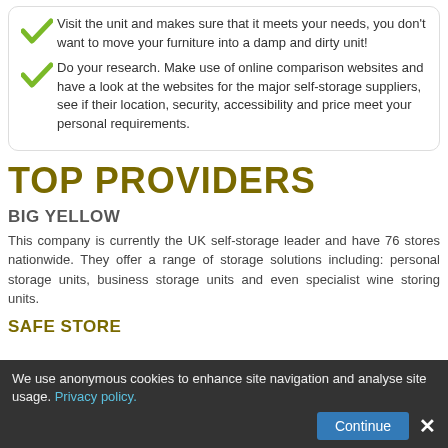Visit the unit and makes sure that it meets your needs, you don't want to move your furniture into a damp and dirty unit!
Do your research. Make use of online comparison websites and have a look at the websites for the major self-storage suppliers, see if their location, security, accessibility and price meet your personal requirements.
TOP PROVIDERS
BIG YELLOW
This company is currently the UK self-storage leader and have 76 stores nationwide. They offer a range of storage solutions including: personal storage units, business storage units and even specialist wine storing units.
SAFE STORE
We use anonymous cookies to enhance site navigation and analyse site usage. Privacy policy.